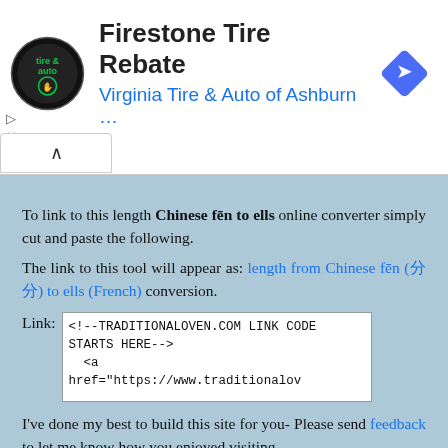[Figure (screenshot): Firestone Tire Rebate advertisement banner with Virginia Tire & Auto of Ashburn logo and navigation icon]
To link to this length Chinese fēn to ells online converter simply cut and paste the following.
The link to this tool will appear as: length from Chinese fēn (分) to ells (French) conversion.
Link: <!--TRADITIONALOVEN.COM LINK CODE STARTS HERE--> <a href="https://www.traditionalov
I've done my best to build this site for you- Please send feedback to let me know how you enjoyed visiting.